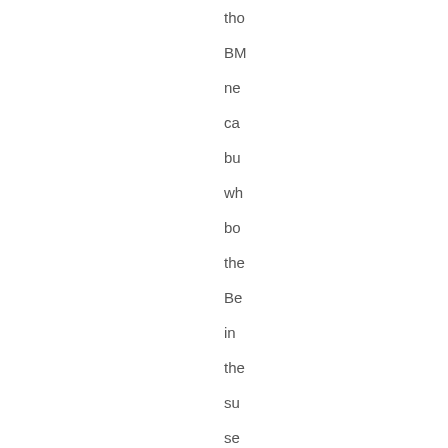the
BM
ne
ca
bu
wh
bo
the
Be
in
the
su
se
in
Ge
Ou
of